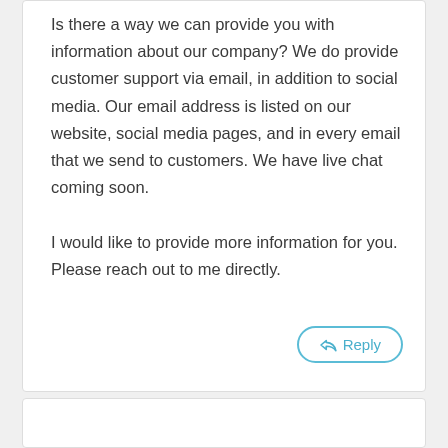Is there a way we can provide you with information about our company? We do provide customer support via email, in addition to social media. Our email address is listed on our website, social media pages, and in every email that we send to customers. We have live chat coming soon.

I would like to provide more information for you. Please reach out to me directly.